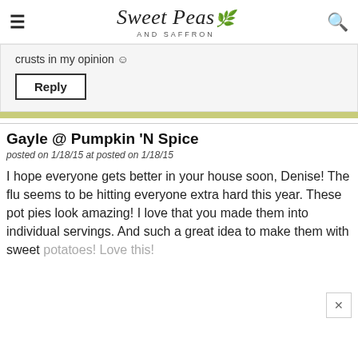Sweet Peas and Saffron
crusts in my opinion ☺
Reply
Gayle @ Pumpkin 'N Spice
posted on 1/18/15 at posted on 1/18/15
I hope everyone gets better in your house soon, Denise! The flu seems to be hitting everyone extra hard this year. These pot pies look amazing! I love that you made them into individual servings. And such a great idea to make them with sweet potatoes! Love this!